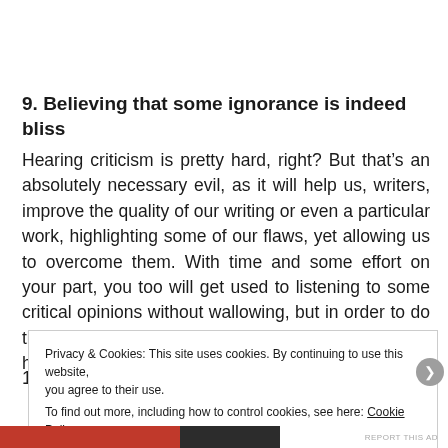9. Believing that some ignorance is indeed bliss
Hearing criticism is pretty hard, right? But that’s an absolutely necessary evil, as it will help us, writers, improve the quality of our writing or even a particular work, highlighting some of our flaws, yet allowing us to overcome them. With time and some effort on your part, you too will get used to listening to some critical opinions without wallowing, but in order to do that, you need to stop and listen to what people have to say.
Privacy & Cookies: This site uses cookies. By continuing to use this website, you agree to their use.
To find out more, including how to control cookies, see here: Cookie Policy
Close and accept